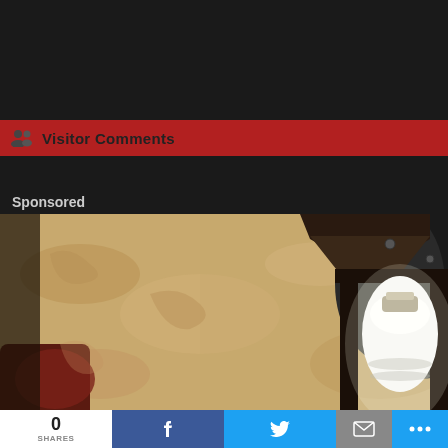Visitor Comments
Sponsored
[Figure (photo): Close-up photo of a wall-mounted outdoor lantern light fixture with a large white bulb visible through glass panels, mounted against a textured sandy-colored stucco wall.]